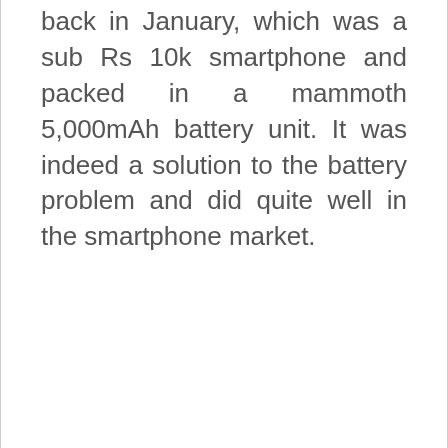back in January, which was a sub Rs 10k smartphone and packed in a mammoth 5,000mAh battery unit. It was indeed a solution to the battery problem and did quite well in the smartphone market.